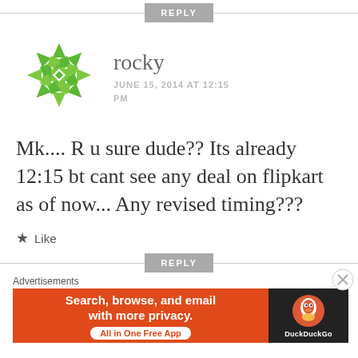REPLY
[Figure (illustration): Green geometric avatar icon with diamond/snowflake pattern]
rocky
JUNE 15, 2014 AT 12:15 PM
Mk.... R u sure dude?? Its already 12:15 bt cant see any deal on flipkart as of now... Any revised timing???
Like
REPLY
Advertisements
[Figure (screenshot): DuckDuckGo advertisement banner: Search, browse, and email with more privacy. All in One Free App]